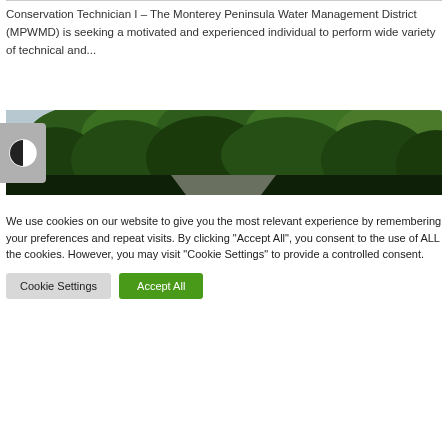Conservation Technician I – The Monterey Peninsula Water Management District (MPWMD) is seeking a motivated and experienced individual to perform wide variety of technical and...
[Figure (photo): Landscape photo showing dense green trees and foliage against a light sky background]
We use cookies on our website to give you the most relevant experience by remembering your preferences and repeat visits. By clicking "Accept All", you consent to the use of ALL the cookies. However, you may visit "Cookie Settings" to provide a controlled consent.